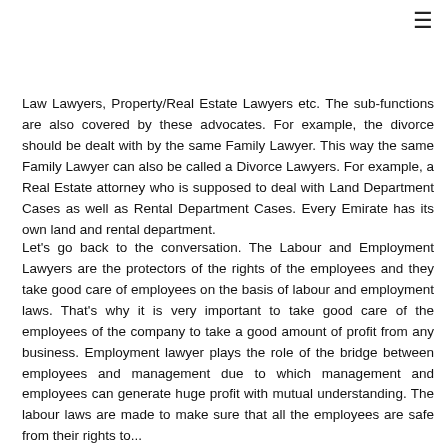Law Lawyers, Property/Real Estate Lawyers etc. The sub-functions are also covered by these advocates. For example, the divorce should be dealt with by the same Family Lawyer. This way the same Family Lawyer can also be called a Divorce Lawyers. For example, a Real Estate attorney who is supposed to deal with Land Department Cases as well as Rental Department Cases. Every Emirate has its own land and rental department.
Let's go back to the conversation. The Labour and Employment Lawyers are the protectors of the rights of the employees and they take good care of employees on the basis of labour and employment laws. That's why it is very important to take good care of the employees of the company to take a good amount of profit from any business. Employment lawyer plays the role of the bridge between employees and management due to which management and employees can generate huge profit with mutual understanding. The labour laws are made to make sure that all the employees are safe from their rights to...